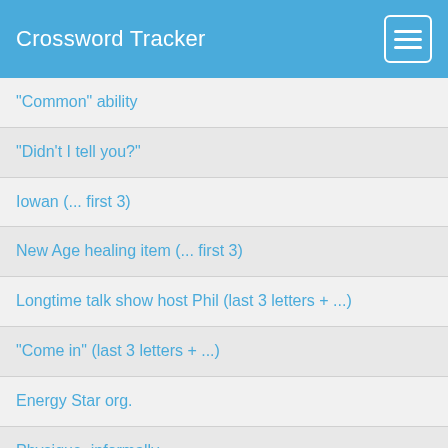Crossword Tracker
"Common" ability
"Didn't I tell you?"
Iowan (... first 3)
New Age healing item (... first 3)
Longtime talk show host Phil (last 3 letters + ...)
"Come in" (last 3 letters + ...)
Energy Star org.
Physique, informally
Princess who fought Hercules
"Baseball Tonight" channel
Academy, e.g.: Abbr.